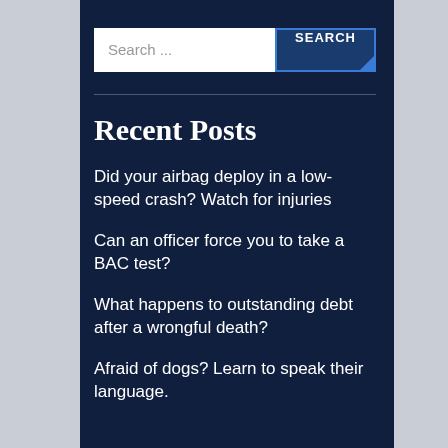[Figure (other): Search bar with text input field showing 'Search ...' placeholder and a dark blue 'SEARCH' button with blue border and corner accent]
Recent Posts
Did your airbag deploy in a low-speed crash? Watch for injuries
Can an officer force you to take a BAC test?
What happens to outstanding debt after a wrongful death?
Afraid of dogs? Learn to speak their language.